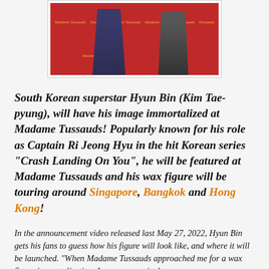[Figure (photo): Photo of Hyun Bin at Madame Tussauds event, standing in front of a red branded backdrop with Madame Tussauds logos, wearing plaid pants; another person in a suit stands beside him.]
South Korean superstar Hyun Bin (Kim Tae-pyung), will have his image immortalized at Madame Tussauds! Popularly known for his role as Captain Ri Jeong Hyu in the hit Korean series "Crash Landing On You", he will be featured at Madame Tussauds and his wax figure will be touring around Singapore, Bangkok and Hong Kong!
In the announcement video released last May 27, 2022, Hyun Bin gets his fans to guess how his figure will look like, and where it will be launched. "When Madame Tussauds approached me for a wax figure immortalisation, I was very excited